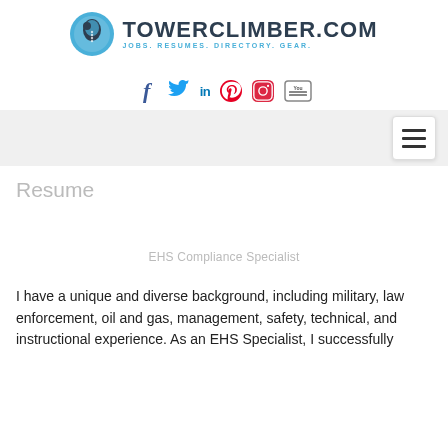[Figure (logo): TowerClimber.com logo with bird/climber icon and tagline JOBS. RESUMES. DIRECTORY. GEAR.]
[Figure (infographic): Social media icons row: Facebook, Twitter, LinkedIn, Pinterest, Instagram, YouTube]
[Figure (other): Navigation bar with hamburger menu button on right]
Resume
EHS Compliance Specialist
I have a unique and diverse background, including military, law enforcement, oil and gas, management, safety, technical, and instructional experience. As an EHS Specialist, I successfully